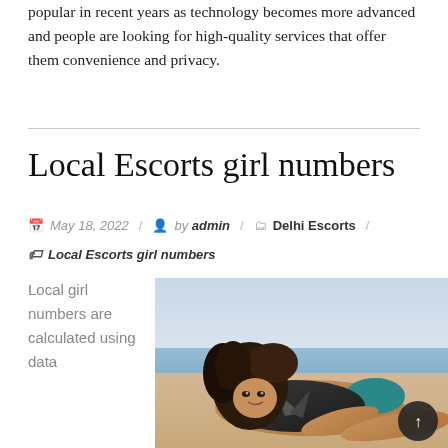popular in recent years as technology becomes more advanced and people are looking for high-quality services that offer them convenience and privacy.
Local Escorts girl numbers
May 18, 2022 / by admin / Delhi Escorts / Local Escorts girl numbers
Local girl numbers are calculated using data
[Figure (photo): Woman in a leather jacket and teal bikini bottom lying on a sandy beach, smiling at the camera.]